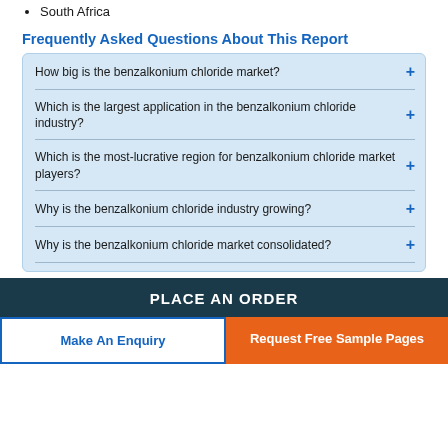South Africa
Frequently Asked Questions About This Report
How big is the benzalkonium chloride market?
Which is the largest application in the benzalkonium chloride industry?
Which is the most-lucrative region for benzalkonium chloride market players?
Why is the benzalkonium chloride industry growing?
Why is the benzalkonium chloride market consolidated?
PLACE AN ORDER
Make An Enquiry
Request Free Sample Pages